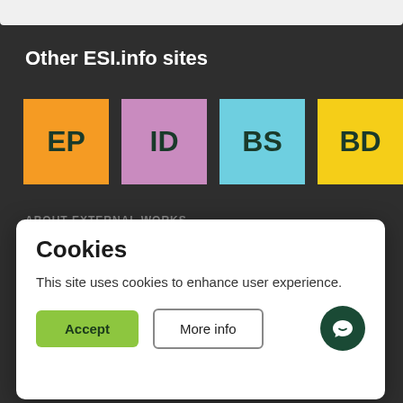Other ESI.info sites
[Figure (logo): Four colored logo boxes: EP (orange), ID (pink/mauve), BS (light blue), BD (yellow)]
ABOUT EXTERNAL WORKS
EXTERNAL WORKS helps designers, specifiers and buyers
Cookies
This site uses cookies to enhance user experience.
Accept
More info